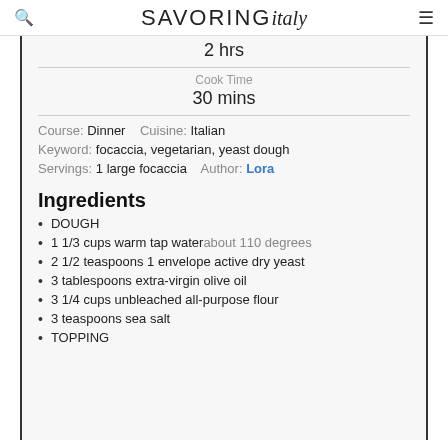SAVORING italy
2 hrs
Cook Time
30 mins
Course: Dinner   Cuisine: Italian
Keyword: focaccia, vegetarian, yeast dough
Servings: 1 large focaccia   Author: Lora
Ingredients
DOUGH
1 1/3 cups warm tap water about 110 degrees
2 1/2 teaspoons 1 envelope active dry yeast
3 tablespoons extra-virgin olive oil
3 1/4 cups unbleached all-purpose flour
3 teaspoons sea salt
TOPPING